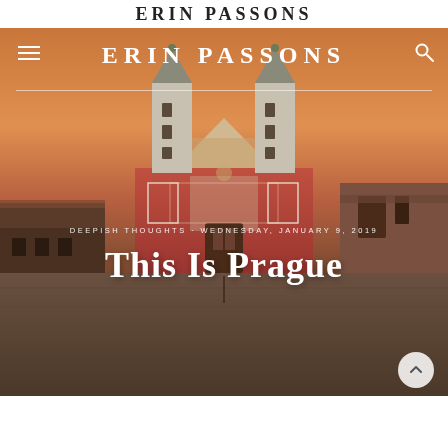ERIN PASSONS
[Figure (photo): Photograph of a Prague baroque church (St. George's Basilica) with red and white facade, two stone towers, set against a dramatic orange-yellow sunset sky, with cobblestone square in the foreground]
ERIN PASSONS
DEEPISH THOUGHTS · WEDNESDAY, JANUARY 9, 2019
This Is Prague